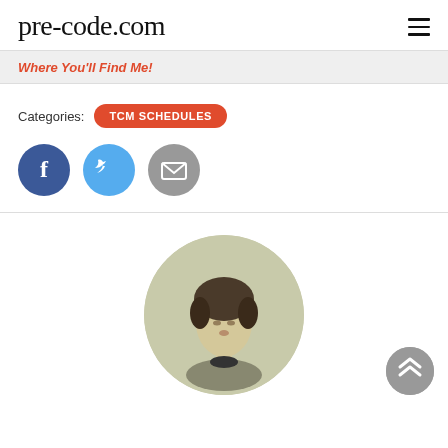pre-code.com
Where You'll Find Me!
Categories: TCM SCHEDULES
[Figure (illustration): Social sharing buttons: Facebook (dark blue circle with f icon), Twitter (light blue circle with bird icon), Email (grey circle with envelope icon)]
[Figure (photo): Circular black and white vintage photo of a woman with curly hair, styled as a profile/avatar image]
[Figure (illustration): Scroll-to-top button: grey circle with double upward chevron arrows in white, positioned bottom right]